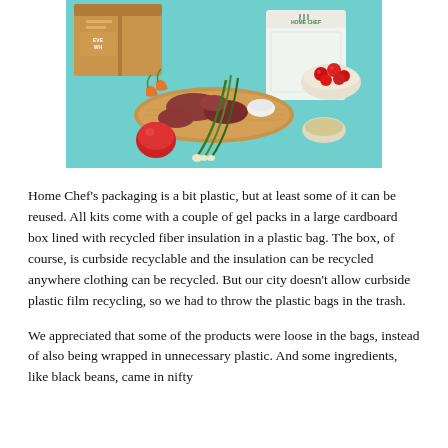[Figure (photo): Home Chef meal kit box with fresh ingredients — meats on a wooden board, tomato, green onions, cherry tomatoes in a bowl, sauce bowl, and a Home Chef branded white bag, on a teal background.]
Home Chef's packaging is a bit plastic, but at least some of it can be reused. All kits come with a couple of gel packs in a large cardboard box lined with recycled fiber insulation in a plastic bag. The box, of course, is curbside recyclable and the insulation can be recycled anywhere clothing can be recycled. But our city doesn't allow curbside plastic film recycling, so we had to throw the plastic bags in the trash.
We appreciated that some of the products were loose in the bags, instead of also being wrapped in unnecessary plastic. And some ingredients, like black beans, came in nifty